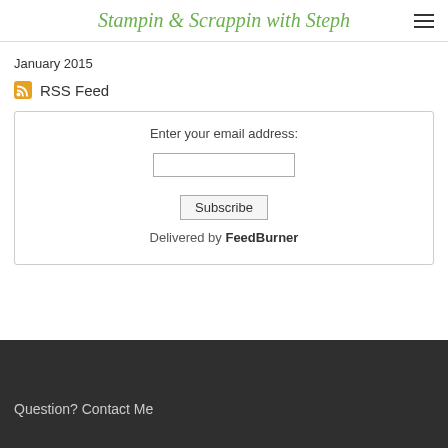Stampin & Scrappin with Steph
January 2015
RSS Feed
Enter your email address:
Subscribe
Delivered by FeedBurner
Question? Contact Me